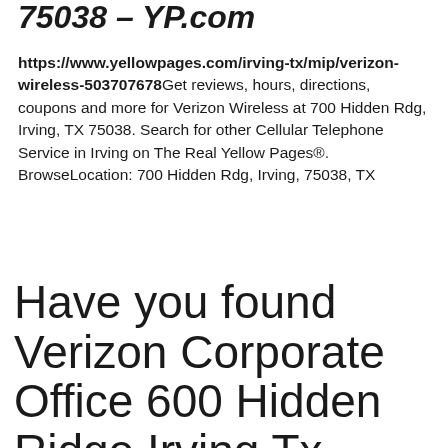75038 – YP.com
https://www.yellowpages.com/irving-tx/mip/verizon-wireless-503707678Get reviews, hours, directions, coupons and more for Verizon Wireless at 700 Hidden Rdg, Irving, TX 75038. Search for other Cellular Telephone Service in Irving on The Real Yellow Pages®. BrowseLocation: 700 Hidden Rdg, Irving, 75038, TX
Have you found Verizon Corporate Office 600 Hidden Ridge Irving Tx 75038 Information...